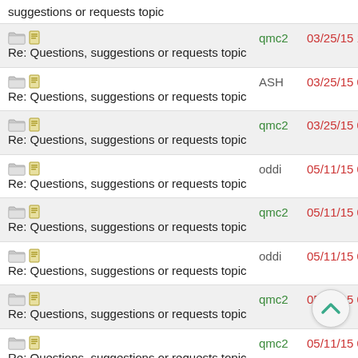suggestions or requests topic
Re: Questions, suggestions or requests topic | qmc2 | 03/25/15 10:10 AM
Re: Questions, suggestions or requests topic | ASH | 03/25/15 07:59 PM
Re: Questions, suggestions or requests topic | qmc2 | 03/25/15 08:03 PM
Re: Questions, suggestions or requests topic | oddi | 05/11/15 05:01 PM
Re: Questions, suggestions or requests topic | qmc2 | 05/11/15 06:39 PM
Re: Questions, suggestions or requests topic | oddi | 05/11/15 06:43 PM
Re: Questions, suggestions or requests topic | qmc2 | 05/11/15 06:45 PM
Re: Questions, suggestions or requests topic | qmc2 | 05/11/15 06:53 PM
Re: Questions, suggestions or requests topic | oddi | 05/11/15 07:18 PM